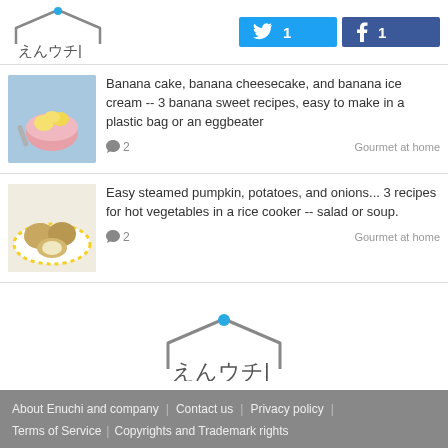えんウチ | Twitter 1 | Facebook 1
[Figure (photo): Bowl of bananas and banana slices on light blue background]
Banana cake, banana cheesecake, and banana ice cream -- 3 banana sweet recipes, easy to make in a plastic bag or an eggbeater
2  Gourmet at home
[Figure (photo): Potatoes on a white plate with yellow dotted border]
Easy steamed pumpkin, potatoes, and onions... 3 recipes for hot vegetables in a rice cooker -- salad or soup.
2  Gourmet at home
[Figure (logo): えんウチ logo - center page]
About Enuchi and company | Contact us | Privacy policy | Terms of Service | Copyrights and Trademark rights